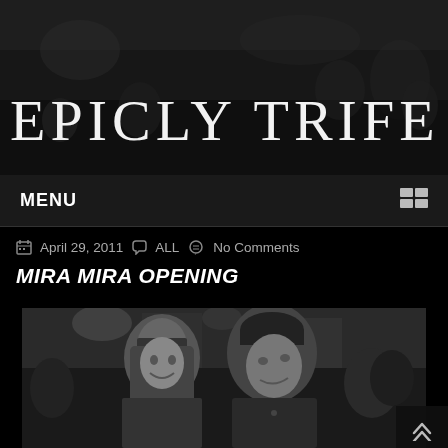EPICLY TRIFE
MENU
April 29, 2011   ALL   No Comments
MIRA MIRA OPENING
[Figure (photo): Black and white photo of two people posing together at an event. A woman with bangs and long dark hair is smiling on the left, and a man wearing a dark beanie hat is leaning toward her on the right. Several other people are visible in the background at what appears to be a crowded venue or opening event.]